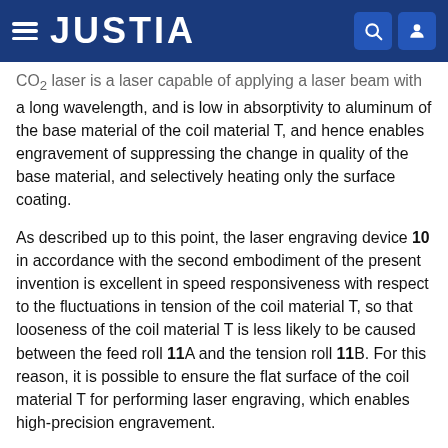JUSTIA
CO₂ laser is a laser capable of applying a laser beam with a long wavelength, and is low in absorptivity to aluminum of the base material of the coil material T, and hence enables engravement of suppressing the change in quality of the base material, and selectively heating only the surface coating.
As described up to this point, the laser engraving device 10 in accordance with the second embodiment of the present invention is excellent in speed responsiveness with respect to the fluctuations in tension of the coil material T, so that looseness of the coil material T is less likely to be caused between the feed roll 11A and the tension roll 11B. For this reason, it is possible to ensure the flat surface of the coil material T for performing laser engraving, which enables high-precision engravement.
Further, it is not necessary to support the coil material T